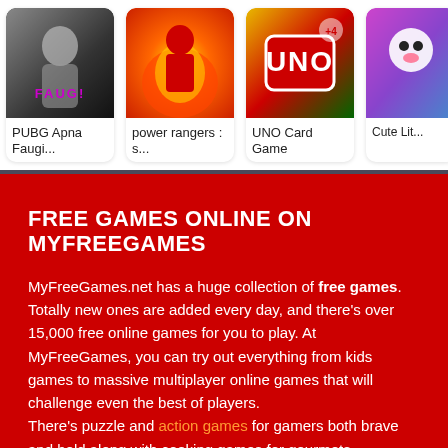[Figure (screenshot): Game card: PUBG Apna Faugi... with character artwork]
PUBG Apna Faugi...
[Figure (screenshot): Game card: power rangers : s... with action character in flames]
power rangers : s...
[Figure (screenshot): Game card: UNO Card Game with UNO logo]
UNO Card Game
[Figure (screenshot): Game card: Cute Lit... with cute character artwork]
Cute Lit...
FREE GAMES ONLINE ON MYFREEGAMES
MyFreeGames.net has a huge collection of free games. Totally new ones are added every day, and there's over 15,000 free online games for you to play. At MyFreeGames, you can try out everything from kids games to massive multiplayer online games that will challenge even the best of players.
There's puzzle and action games for gamers both brave and bold along with cooking games for gourmets. Fashionistas will love our collection of dress-up and design games, and families will enjoy our bubble shooter games, Kogama games, and Bejeweled games. If you love a challenge, you can exercise your noggin with tricky puzzle
[Figure (photo): Advertisement showing a car - Ashburn Unsold Never-Driven SUVs Now Almost Being Given]
Ashburn Unsold Never-Driven SUVs Now Almost Being Given